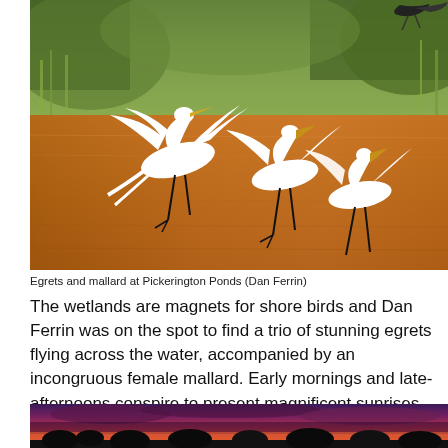[Figure (photo): Three white egrets flying low over a wetland pond with brown water and green reeds in background. A dark bird is visible in the top right corner.]
Egrets and mallard at Pickerington Ponds (Dan Ferrin)
The wetlands are magnets for shore birds and Dan Ferrin was on the spot to find a trio of stunning egrets flying across the water, accompanied by an incongruous female mallard. Early mornings and late-afternoons conspire to present magnificent sunrises and sunsets, like the wonderful sunset captured by John Bonnett.
[Figure (photo): A dramatic sunset over a dark silhouetted treeline with deep purple, red and orange sky and clouds.]